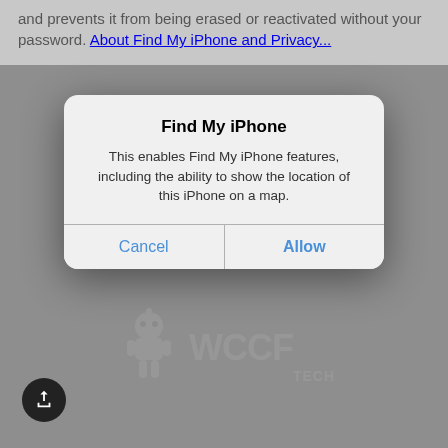and prevents it from being erased or reactivated without your password. About Find My iPhone and Privacy...
[Figure (screenshot): iOS dialog box titled 'Find My iPhone' with message 'This enables Find My iPhone features, including the ability to show the location of this iPhone on a map.' and two buttons: Cancel and Allow]
[Figure (logo): WCCFtech watermark logo with robot mascot]
[Figure (other): Share button icon (circular dark button with share/export arrow icon) in bottom left corner]